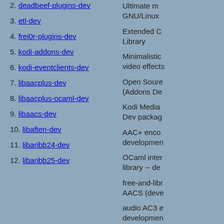2. deadbeef-plugins-dev
3. etl-dev
4. frei0r-plugins-dev
5. kodi-addons-dev
6. kodi-eventclients-dev
7. libaacplus-dev
8. libaacplus-ocaml-dev
9. libaacs-dev
10. libaften-dev
11. libaribb24-dev
12. libaribb25-dev